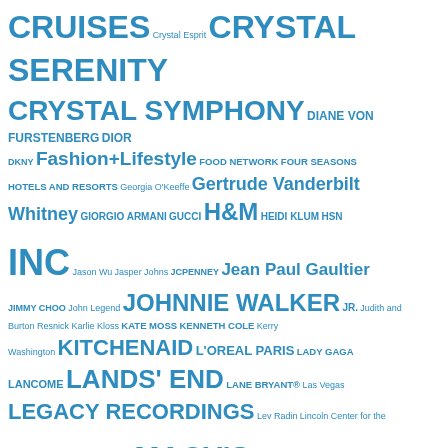CRUISES Crystal Esprit CRYSTAL SERENITY CRYSTAL SYMPHONY DIANE VON FURSTENBERG DIOR DKNY Fashion+Lifestyle FOOD NETWORK FOUR SEASONS HOTELS AND RESORTS Georgia O'Keeffe Gertrude Vanderbilt Whitney GIORGIO ARMANI GUCCI H&M HEIDI KLUM HSN INC Jason Wu Jasper Johns JCPENNEY Jean Paul Gaultier JIMMY CHOO John Legend JOHNNIE WALKER JR. Judith and Burton Resnick Karlie Kloss KATE MOSS KENNETH COLE Kerry Washington KITCHENAID L'OREAL PARIS LADY GAGA LANCOME LANDS' END LANE BRYANT® Las Vegas LEGACY RECORDINGS Lev Radin Lincoln Center for the Performing Arts Lupita Nyong'o MACY'S Mandarin Oriental Mandarin Oriental Hotel Group MARC JACOBS Mario Testino Marriott International Mercedes benz Fashion Week Swim 2014